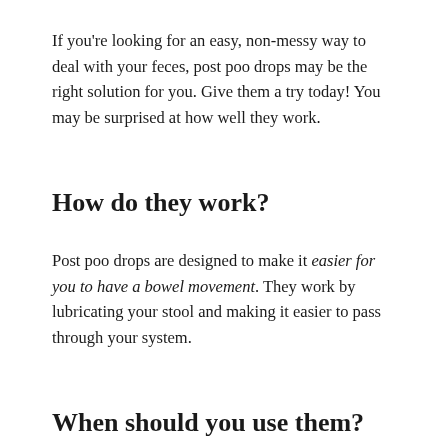If you're looking for an easy, non-messy way to deal with your feces, post poo drops may be the right solution for you. Give them a try today! You may be surprised at how well they work.
How do they work?
Post poo drops are designed to make it easier for you to have a bowel movement. They work by lubricating your stool and making it easier to pass through your system.
When should you use them?
Post poo drops can be used whenever you need them. If you're having trouble...